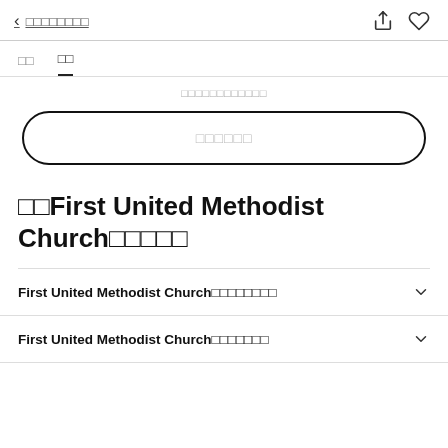< □□□□□□□□
□□  □□
□□□□□□□□□□□□
□□□□□□
□□First United Methodist Church□□□□□
First United Methodist Church□□□□□□□□
First United Methodist Church□□□□□□□